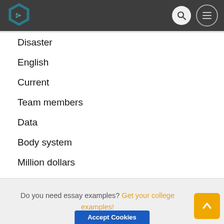Disaster
English
Current
Team members
Data
Body system
Million dollars
Being used
High school
Function
Women
Children young
Organizational
Do you need essay examples? Get your college examples!